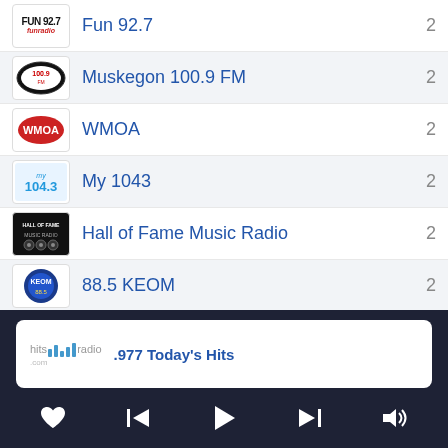Fun 92.7  2
Muskegon 100.9 FM  2
WMOA  2
My 1043  2
Hall of Fame Music Radio  2
88.5 KEOM  2
.977 Today's Hits
[Figure (screenshot): Radio app player bar with hitsradio.com logo, now playing .977 Today's Hits, and playback controls: heart, skip back, play, skip forward, volume]